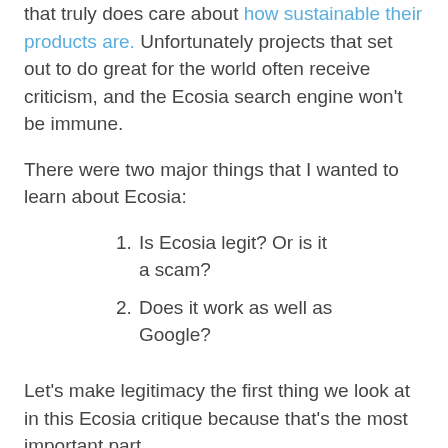that truly does care about how sustainable their products are. Unfortunately projects that set out to do great for the world often receive criticism, and the Ecosia search engine won't be immune.
There were two major things that I wanted to learn about Ecosia:
1. Is Ecosia legit? Or is it a scam?
2. Does it work as well as Google?
Let's make legitimacy the first thing we look at in this Ecosia critique because that's the most important part.